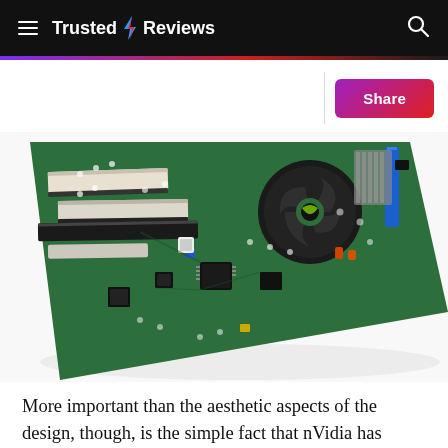Trusted Reviews
[Figure (photo): Close-up photograph of a green PCB motherboard/graphics card showing PCI expansion slots, a fan with Nvidia logo, capacitors, chips, and various connectors on a white background.]
More important than the aesthetic aspects of the design, though, is the simple fact that nVidia has managed to squeeze all this power into a single slot card, which is not